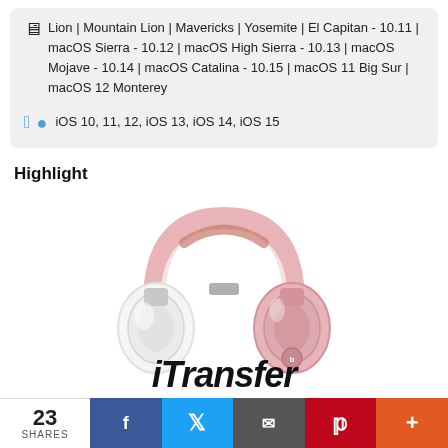🖥 Lion | Mountain Lion | Mavericks | Yosemite | El Capitan - 10.11 | macOS Sierra - 10.12 | macOS High Sierra - 10.13 | macOS Mojave - 10.14 | macOS Catalina - 10.15 | macOS 11 Big Sur | macOS 12 Monterey
iOS 10, 11, 12, iOS 13, iOS 14, iOS 15
Highlight
[Figure (photo): Rose gold Beats Solo over-ear headphones against white background]
iTransfer
23 SHARES | f | 🐦 | ✉ | P | +